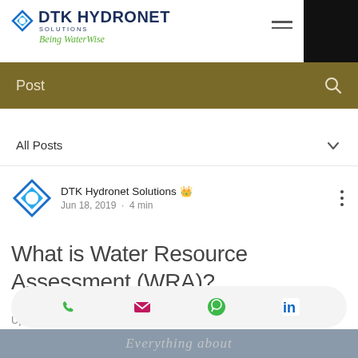DTK HYDRONET SOLUTIONS — Being WaterWise
Post
All Posts
DTK Hydronet Solutions 👑 Jun 18, 2019 · 4 min
What is Water Resource Assessment (WRA)?
Updated: Jul 5, 2019